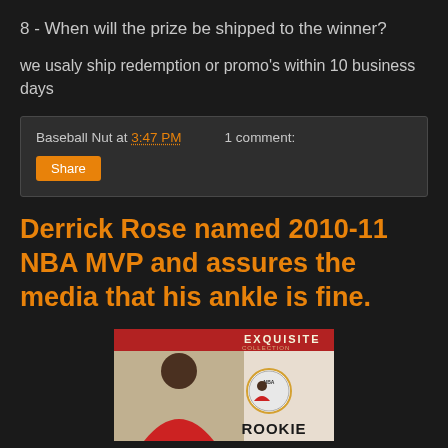8 - When will the prize be shipped to the winner?
we usaly ship redemption or promo's within 10 business days
Baseball Nut at 3:47 PM   1 comment:
Share
Derrick Rose named 2010-11 NBA MVP and assures the media that his ankle is fine.
[Figure (photo): Derrick Rose Exquisite Collection Rookie basketball card, showing his photo on a red and white card background with the ROOKIE label at the bottom.]